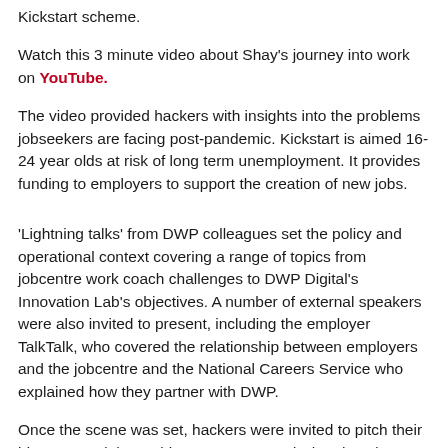Kickstart scheme.
Watch this 3 minute video about Shay's journey into work on YouTube.
The video provided hackers with insights into the problems jobseekers are facing post-pandemic. Kickstart is aimed 16-24 year olds at risk of long term unemployment. It provides funding to employers to support the creation of new jobs.
'Lightning talks' from DWP colleagues set the policy and operational context covering a range of topics from jobcentre work coach challenges to DWP Digital's Innovation Lab's objectives. A number of external speakers were also invited to present, including the employer TalkTalk, who covered the relationship between employers and the jobcentre and the National Careers Service who explained how they partner with DWP.
Once the scene was set, hackers were invited to pitch their ideas around the problem statement and what they'd learned from the presentations. As a result, 11 teams were formed